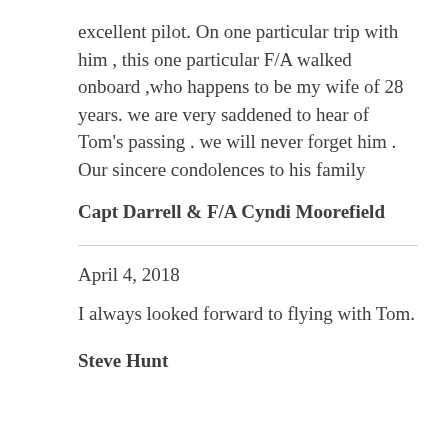excellent pilot. On one particular trip with him , this one particular F/A walked onboard ,who happens to be my wife of 28 years. we are very saddened to hear of Tom's passing . we will never forget him . Our sincere condolences to his family
Capt Darrell & F/A Cyndi Moorefield
April 4, 2018
I always looked forward to flying with Tom.
Steve Hunt